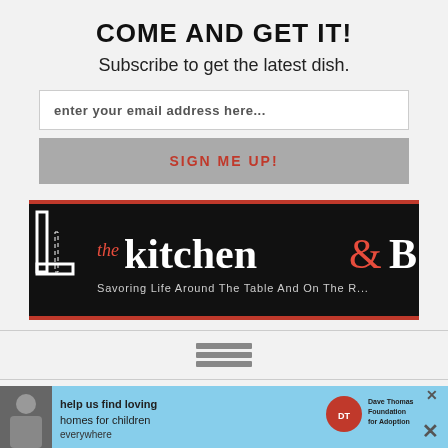COME AND GET IT!
Subscribe to get the latest dish.
enter your email address here...
SIGN ME UP!
[Figure (logo): The Kitchen & Beyond logo banner — black background with red border, showing a stylized letter L icon on the left, cursive red 'the', white handwritten 'kitchen', red ampersand, and white bold partial text. Subtitle: 'Savoring Life Around The Table And On The R...']
[Figure (other): Hamburger menu icon with three horizontal gray bars]
PHILLY CHEESE STEAK
[Figure (screenshot): Advertisement banner at bottom: light blue background with person photo, Dave Thomas Foundation for Adoption logo, and close/X buttons]